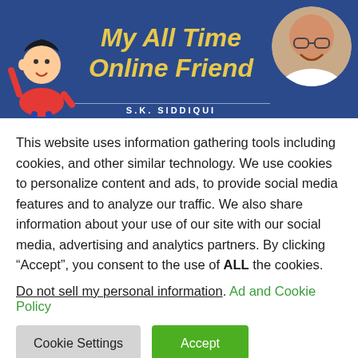[Figure (screenshot): Website banner with blue background showing partial title 'My All Time Online Friend' in bold yellow italic text, a cartoon character on the left side, and a circular photo of a bald smiling man with glasses on the right. Partial text 'S.K. SIDDIQUI' visible at the bottom of the banner.]
This website uses information gathering tools including cookies, and other similar technology. We use cookies to personalize content and ads, to provide social media features and to analyze our traffic. We also share information about your use of our site with our social media, advertising and analytics partners. By clicking “Accept”, you consent to the use of ALL the cookies.
Do not sell my personal information. Ad and Cookie Policy
Cookie Settings   Accept